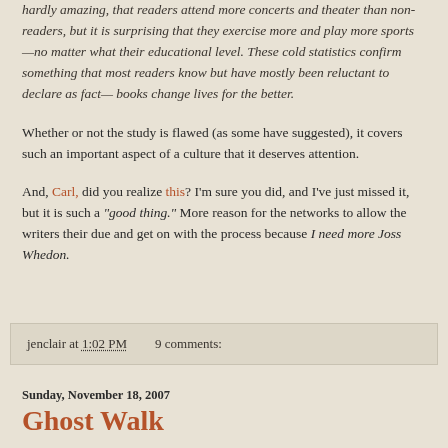hardly amazing, that readers attend more concerts and theater than non-readers, but it is surprising that they exercise more and play more sports—no matter what their educational level. These cold statistics confirm something that most readers know but have mostly been reluctant to declare as fact— books change lives for the better.
Whether or not the study is flawed (as some have suggested), it covers such an important aspect of a culture that it deserves attention.
And, Carl, did you realize this? I'm sure you did, and I've just missed it, but it is such a "good thing." More reason for the networks to allow the writers their due and get on with the process because I need more Joss Whedon.
jenclair at 1:02 PM    9 comments:
Sunday, November 18, 2007
Ghost Walk